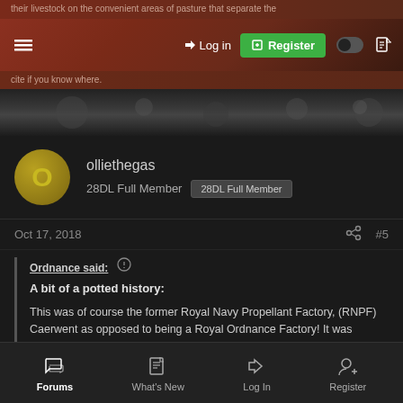their livestock on the convenient areas of pasture that separate the
[Figure (screenshot): Website navigation bar with hamburger menu, Log in button, green Register button, dark mode toggle and document icon]
cite if you know where.
[Figure (photo): Dark header/banner image area of the website]
olliethegas
28DL Full Member  28DL Full Member
Oct 17, 2018  #5
Ordnance said:
A bit of a potted history:
This was of course the former Royal Navy Propellant Factory, (RNPF) Caerwent as opposed to being a Royal Ordnance Factory! It was operational from 1939 to 1965
Forums  What's New  Log In  Register